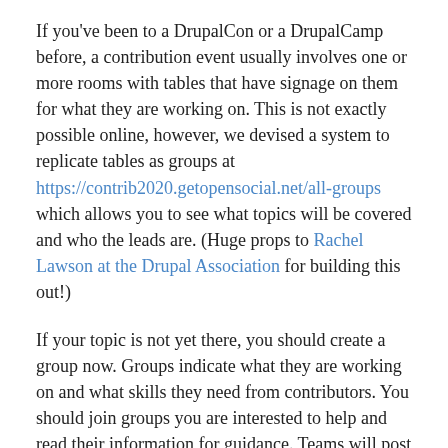If you've been to a DrupalCon or a DrupalCamp before, a contribution event usually involves one or more rooms with tables that have signage on them for what they are working on. This is not exactly possible online, however, we devised a system to replicate tables as groups at https://contrib2020.getopensocial.net/all-groups which allows you to see what topics will be covered and who the leads are. (Huge props to Rachel Lawson at the Drupal Association for building this out!)
If your topic is not yet there, you should create a group now. Groups indicate what they are working on and what skills they need from contributors. You should join groups you are interested to help and read their information for guidance. Teams will post group events to let you know when certain activities (introduction, review sessions, co-working on specific problems or meetings to discuss issues) will happen. Events will also be used to signify when you are most likely to find people working on the topics. The OpenSocial site is a directory of topics and events, contribution itself will happen on drupal.org with direction on Drupal Slack for...